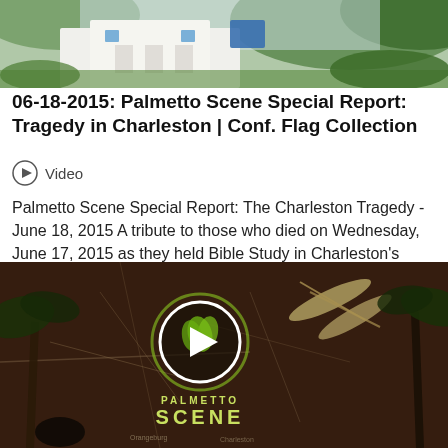[Figure (photo): Top photograph showing a white building/church exterior with greenery and blue sky]
06-18-2015: Palmetto Scene Special Report: Tragedy in Charleston | Conf. Flag Collection
Video
Palmetto Scene Special Report: The Charleston Tragedy - June 18, 2015 A tribute to those who died on Wednesday, June 17, 2015 as they held Bible Study in Charleston's Emanuel A.M.E. Church. This...
[Figure (screenshot): Palmetto Scene video thumbnail showing aerial map view with kayaks, palm trees, and Palmetto Scene logo with play button]